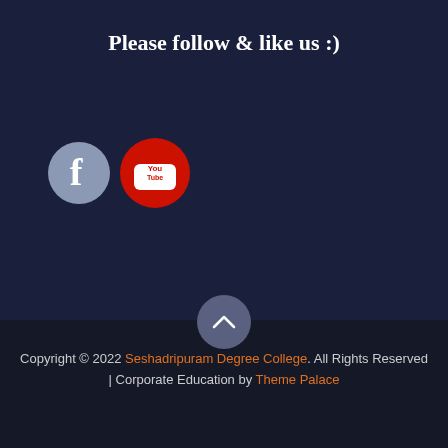Please follow & like us :)
[Figure (logo): Facebook and YouTube social media icons — a blue-grey circular Facebook logo and a red circular YouTube logo]
Copyright © 2022 Seshadripuram Degree College. All Rights Reserved | Corporate Education by Theme Palace